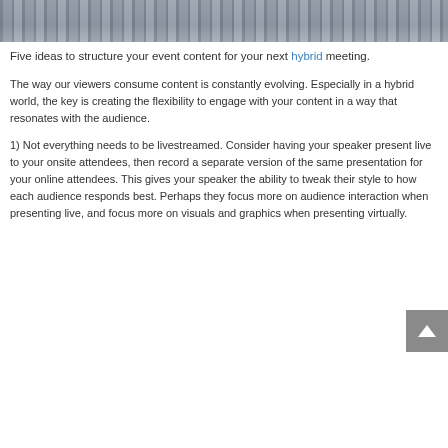[Figure (photo): Partial view of a laptop keyboard and hands, photographed from above on a wooden surface, dark and muted tones.]
Five ideas to structure your event content for your next hybrid meeting.
The way our viewers consume content is constantly evolving. Especially in a hybrid world, the key is creating the flexibility to engage with your content in a way that resonates with the audience.
1) Not everything needs to be livestreamed. Consider having your speaker present live to your onsite attendees, then record a separate version of the same presentation for your online attendees. This gives your speaker the ability to tweak their style to how each audience responds best. Perhaps they focus more on audience interaction when presenting live, and focus more on visuals and graphics when presenting virtually.